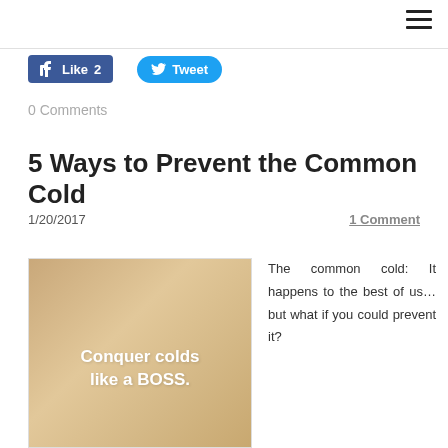[Figure (screenshot): Facebook Like button showing '2' likes and Twitter Tweet button]
0 Comments
5 Ways to Prevent the Common Cold
1/20/2017    1 Comment
[Figure (photo): Photo with golden/tan background showing a person's head, with bold white text overlay reading 'Conquer colds like a BOSS.']
The common cold: It happens to the best of us...but what if you could prevent it?